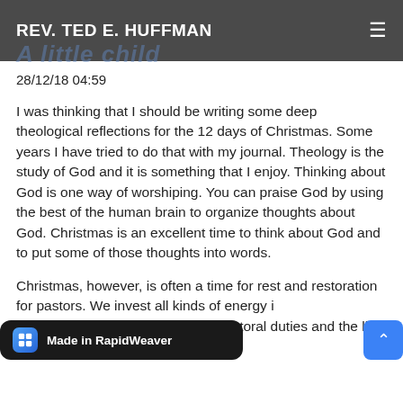REV. TED E. HUFFMAN
28/12/18 04:59
I was thinking that I should be writing some deep theological reflections for the 12 days of Christmas. Some years I have tried to do that with my journal. Theology is the study of God and it is something that I enjoy. Thinking about God is one way of worshiping. You can praise God by using the best of the human brain to organize thoughts about God. Christmas is an excellent time to think about God and to put some of those thoughts into words.
Christmas, however, is often a time for rest and restoration for pastors. We invest all kinds of energy i... nt, with preparation for special services, pastoral duties and the like. In the church,